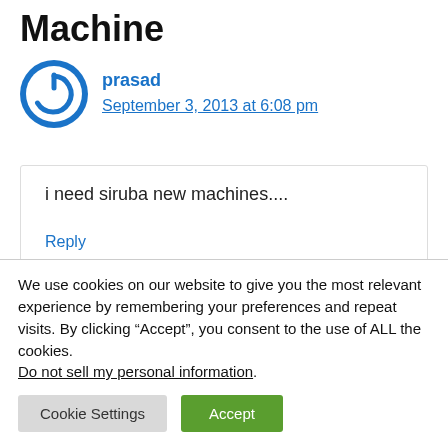Machine
prasad
September 3, 2013 at 6:08 pm
i need siruba new machines....
Reply
We use cookies on our website to give you the most relevant experience by remembering your preferences and repeat visits. By clicking “Accept”, you consent to the use of ALL the cookies. Do not sell my personal information.
Cookie Settings  Accept